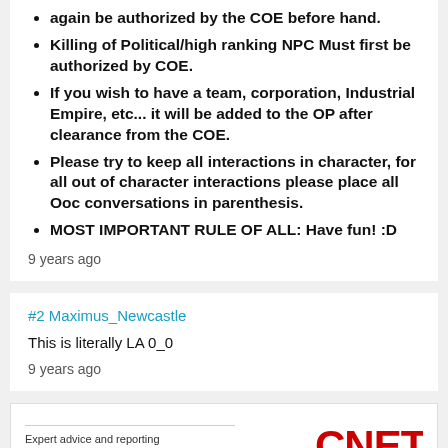again be authorized by the COE before hand.
Killing of Political/high ranking NPC Must first be authorized by COE.
If you wish to have a team, corporation, Industrial Empire, etc... it will be added to the OP after clearance from the COE.
Please try to keep all interactions in character, for all out of character interactions please place all Ooc conversations in parenthesis.
MOST IMPORTANT RULE OF ALL: Have fun! :D
9 years ago
#2 Maximus_Newcastle
This is literally LA 0_0
9 years ago
[Figure (advertisement): CNET advertisement with text: Expert advice and reporting on money, culture, wellness, and CNET logo in red]